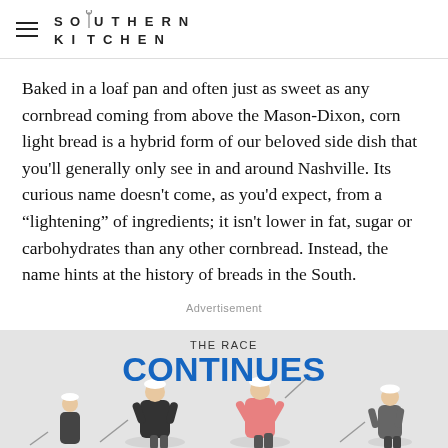SOUTHERN KITCHEN
Baked in a loaf pan and often just as sweet as any cornbread coming from above the Mason-Dixon, corn light bread is a hybrid form of our beloved side dish that you’ll generally only see in and around Nashville. Its curious name doesn’t come, as you’d expect, from a “lightening” of ingredients; it isn’t lower in fat, sugar or carbohydrates than any other cornbread. Instead, the name hints at the history of breads in the South.
Advertisement
[Figure (photo): Advertisement banner showing golf players with text 'THE RACE CONTINUES' in blue on a grey background]